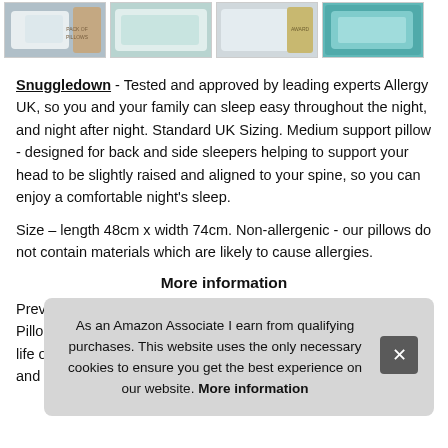[Figure (photo): Four thumbnail images of pillows and bedding products in a horizontal strip]
Snuggledown - Tested and approved by leading experts Allergy UK, so you and your family can sleep easy throughout the night, and night after night. Standard UK Sizing. Medium support pillow - designed for back and side sleepers helping to support your head to be slightly raised and aligned to your spine, so you can enjoy a comfortable night's sleep.
Size – length 48cm x width 74cm. Non-allergenic - our pillows do not contain materials which are likely to cause allergies.
More information
Prev
Pillo
life o
and tumble drier friendly, so it can be back on your bed as
As an Amazon Associate I earn from qualifying purchases. This website uses the only necessary cookies to ensure you get the best experience on our website. More information